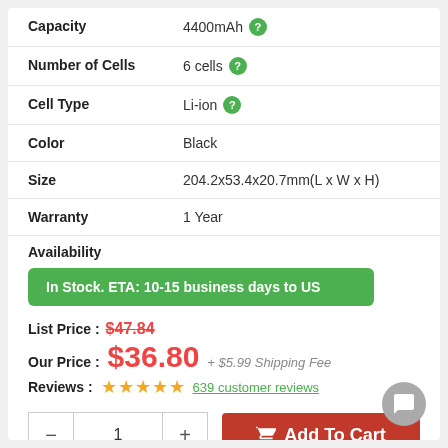| Property | Value |
| --- | --- |
| Capacity | 4400mAh |
| Number of Cells | 6 cells |
| Cell Type | Li-ion |
| Color | Black |
| Size | 204.2x53.4x20.7mm(L x W x H) |
| Warranty | 1 Year |
Availability
In Stock. ETA: 10-15 business days to US
List Price : $47.84
Our Price : $36.80 + $5.99 Shipping Fee
Reviews : ★★★★★ 639 customer reviews
− 1 + Add To Cart